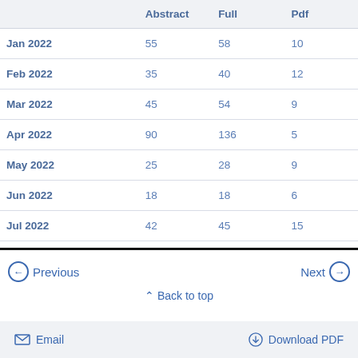|  | Abstract | Full | Pdf |
| --- | --- | --- | --- |
| Jan 2022 | 55 | 58 | 10 |
| Feb 2022 | 35 | 40 | 12 |
| Mar 2022 | 45 | 54 | 9 |
| Apr 2022 | 90 | 136 | 5 |
| May 2022 | 25 | 28 | 9 |
| Jun 2022 | 18 | 18 | 6 |
| Jul 2022 | 42 | 45 | 15 |
Previous
Next
Back to top
Email   Download PDF